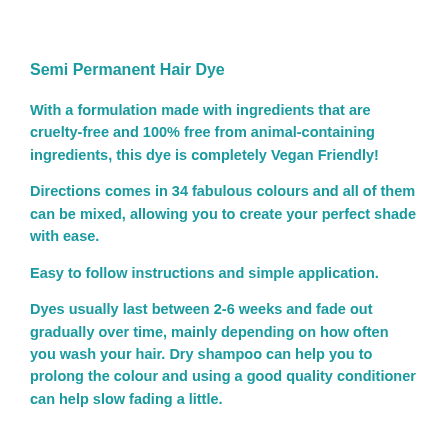Semi Permanent Hair Dye
With a formulation made with ingredients that are cruelty-free and 100% free from animal-containing ingredients, this dye is completely Vegan Friendly!
Directions comes in 34 fabulous colours and all of them can be mixed, allowing you to create your perfect shade with ease.
Easy to follow instructions and simple application.
Dyes usually last between 2-6 weeks and fade out gradually over time, mainly depending on how often you wash your hair. Dry shampoo can help you to prolong the colour and using a good quality conditioner can help slow fading a little.